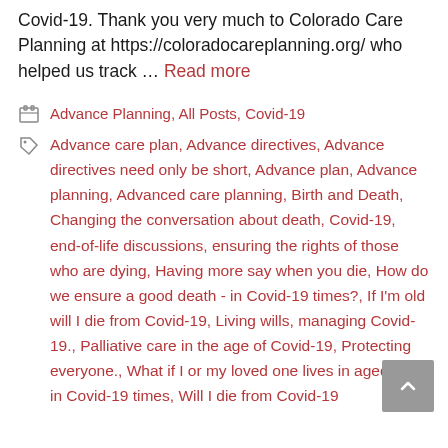Covid-19. Thank you very much to Colorado Care Planning at https://coloradocareplanning.org/ who helped us track … Read more
Categories: Advance Planning, All Posts, Covid-19
Tags: Advance care plan, Advance directives, Advance directives need only be short, Advance plan, Advance planning, Advanced care planning, Birth and Death, Changing the conversation about death, Covid-19, end-of-life discussions, ensuring the rights of those who are dying, Having more say when you die, How do we ensure a good death - in Covid-19 times?, If I'm old will I die from Covid-19, Living wills, managing Covid-19., Palliative care in the age of Covid-19, Protecting everyone., What if I or my loved one lives in aged care in Covid-19 times, Will I die from Covid-19